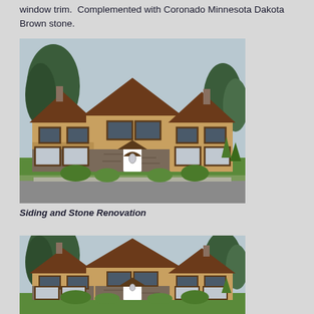window trim.  Complemented with Coronado Minnesota Dakota Brown stone.
[Figure (photo): Front exterior of a two-story house with tan/golden siding, dark brown window trim, brown roof, white front door with decorative arch, stone veneer on lower level, green lawn, and surrounding evergreen trees.]
Siding and Stone Renovation
[Figure (photo): Second photo of the same two-story house exterior with tan siding, dark brown trim, brown roof, white front door, stone veneer on lower level, green lawn, and surrounding evergreen trees — taken from a slightly wider angle showing less foreground driveway.]